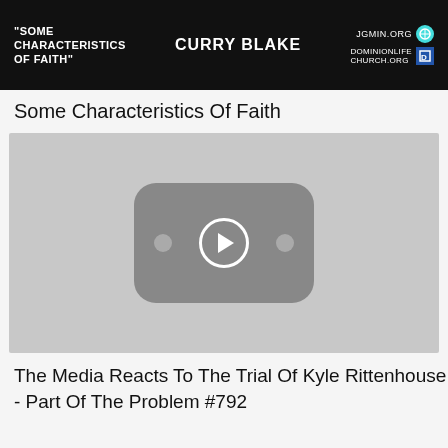[Figure (screenshot): Dark banner image with white text: 'Some Characteristics Of Faith' on the left, 'Curry Blake' in the center, and website URLs (JGMinistries, DominionLifeChurch.org) with icons on the right.]
Some Characteristics Of Faith
[Figure (screenshot): YouTube video thumbnail placeholder showing a light gray background with a rounded-rectangle YouTube play button icon in the center.]
The Media Reacts To The Trial Of Kyle Rittenhouse - Part Of The Problem #792